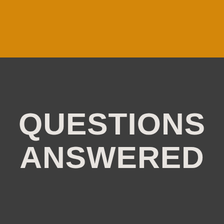[Figure (illustration): Orange horizontal bar at the top of the page]
QUESTIONS ANSWERED